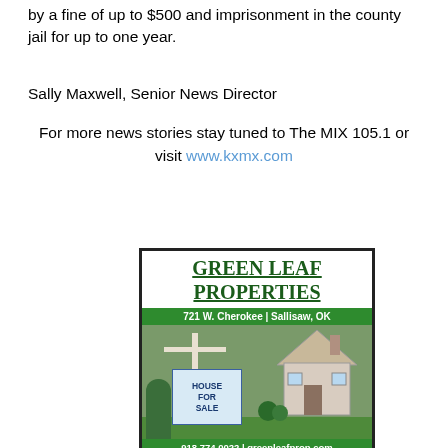by a fine of up to $500 and imprisonment in the county jail for up to one year.
Sally Maxwell, Senior News Director
For more news stories stay tuned to The MIX 105.1 or visit www.kxmx.com
[Figure (advertisement): Green Leaf Properties advertisement with house for sale photo. Address: 721 W. Cherokee | Sallisaw, OK. Phone: 918.774.0022 | greenleafprop.com. Click For More Info.]
[Figure (advertisement): Insurance going up? advertisement banner.]